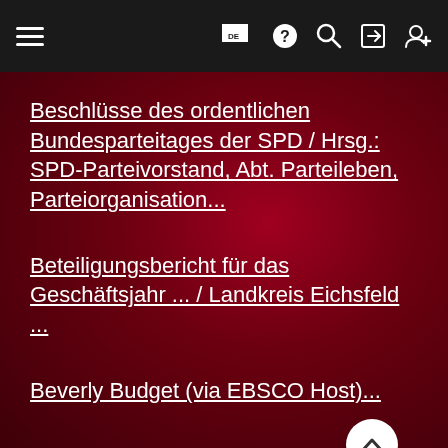Navigation bar with hamburger menu, flag/DE, help, search, login, register icons
Beschlüsse des ordentlichen Bundesparteitages der SPD / Hrsg.: SPD-Parteivorstand, Abt. Parteileben, Parteiorganisation...
Beteiligungsbericht für das Geschäftsjahr ... / Landkreis Eichsfeld ...
Beverly Budget (via EBSCO Host)...
Beyträge zur juristischen Praxis auf Academien...